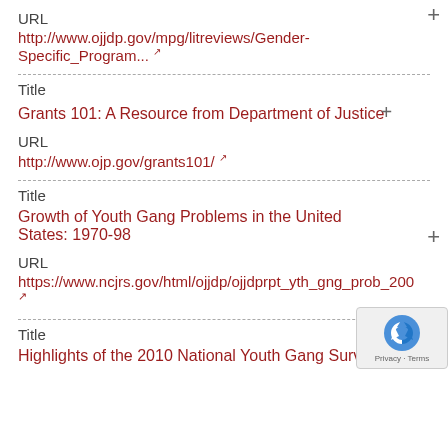URL
http://www.ojjdp.gov/mpg/litreviews/Gender-Specific_Program...
Title
Grants 101: A Resource from Department of Justice
URL
http://www.ojp.gov/grants101/
Title
Growth of Youth Gang Problems in the United States: 1970-98
URL
https://www.ncjrs.gov/html/ojjdp/ojjdprpt_yth_gng_prob_200
Title
Highlights of the 2010 National Youth Gang Survey